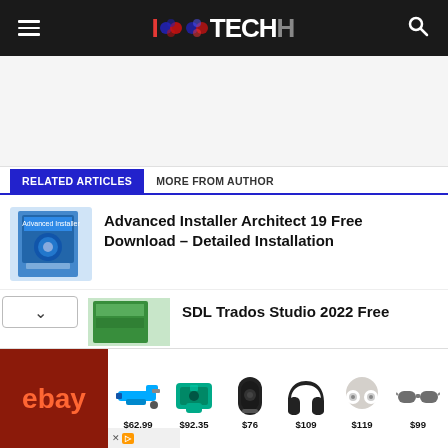IOOTECH
[Figure (illustration): Gray advertisement placeholder area]
RELATED ARTICLES | MORE FROM AUTHOR
[Figure (photo): Advanced Installer Architect 19 software box art]
Advanced Installer Architect 19 Free Download – Detailed Installation
[Figure (photo): SDL Trados Studio 2022 software box (partial)]
SDL Trados Studio 2022 Free
[Figure (infographic): eBay advertisement banner showing products: tool $62.99, drill bag $92.35, speaker $76, headphones $109, earbuds $119, sunglasses $99]